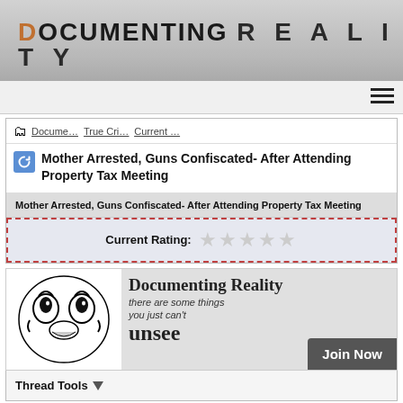[Figure (logo): Documenting Reality website header banner with grey textured background and large title text]
DOCUMENTING REALITY
Docume... True Cri... Current ...
Mother Arrested, Guns Confiscated- After Attending Property Tax Meeting
Mother Arrested, Guns Confiscated- After Attending Property Tax Meeting
Current Rating:
[Figure (infographic): Documenting Reality advertisement banner with scary cartoon face and Join Now button. Text: Documenting Reality there are some things you just can't unsee. Join Now.]
Thread Tools
03-13-2013, 12:37 PM
#1